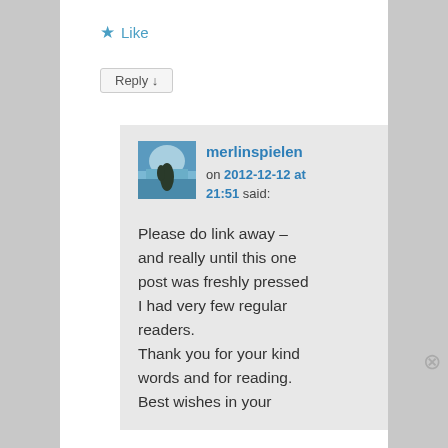★ Like
Reply ↓
merlinspielen on 2012-12-12 at 21:51 said:
Please do link away – and really until this one post was freshly pressed I had very few regular readers.
Thank you for your kind words and for reading.
Best wishes in your
Advertisements
[Figure (screenshot): WordPress app advertisement banner: 'Create immersive stories. GET THE APP' with WordPress logo]